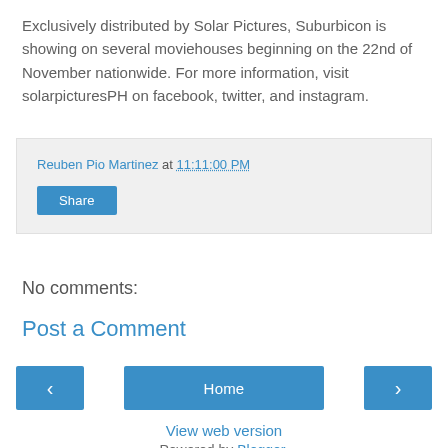Exclusively distributed by Solar Pictures, Suburbicon is showing on several moviehouses beginning on the 22nd of November nationwide. For more information, visit solarpicturesPH on facebook, twitter, and instagram.
Reuben Pio Martinez at 11:11:00 PM
Share
No comments:
Post a Comment
‹
Home
›
View web version
Powered by Blogger.